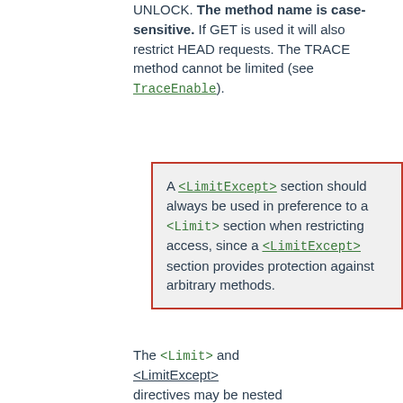UNLOCK. The method name is case-sensitive. If GET is used it will also restrict HEAD requests. The TRACE method cannot be limited (see TraceEnable).
A <LimitExcept> section should always be used in preference to a <Limit> section when restricting access, since a <LimitExcept> section provides protection against arbitrary methods.
The <Limit> and <LimitExcept> directives may be nested